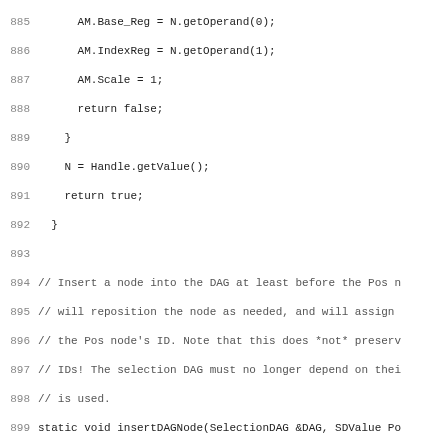Source code listing lines 885-917, C++ code for DAG node manipulation in LLVM/SelectionDAG context